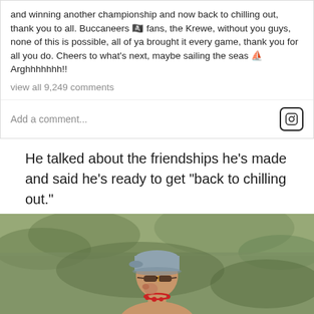and winning another championship and now back to chilling out, thank you to all. Buccaneers 🏴‍☠️ fans, the Krewe, without you guys, none of this is possible, all of ya brought it every game, thank you for all you do. Cheers to what's next, maybe sailing the seas ⛵ Arghhhhhhh!!
view all 9,249 comments
Add a comment...
He talked about the friendships he's made and said he's ready to get "back to chilling out."
He did not say what his plans, post-NFL will be, but made mention of a possible future "sailing the seas."
[Figure (photo): Person wearing a grey cap, sunglasses, and a red necklace, photographed outdoors with a blurred green background.]